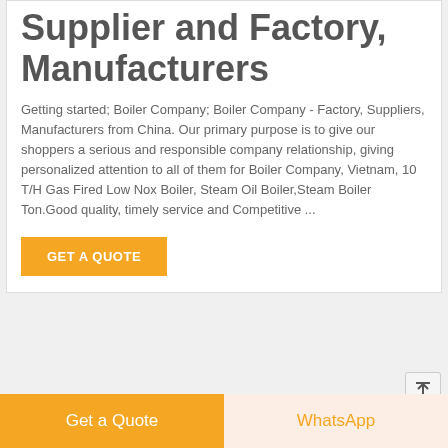Supplier and Factory, Manufacturers
Getting started; Boiler Company; Boiler Company - Factory, Suppliers, Manufacturers from China. Our primary purpose is to give our shoppers a serious and responsible company relationship, giving personalized attention to all of them for Boiler Company, Vietnam, 10 T/H Gas Fired Low Nox Boiler, Steam Oil Boiler,Steam Boiler Ton.Good quality, timely service and Competitive ...
GET A QUOTE
[Figure (photo): Photo of industrial boiler equipment in a factory setting]
Get a Quote
WhatsApp